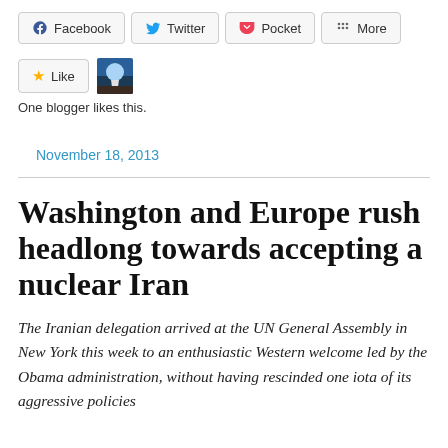[Figure (screenshot): Social share buttons row: Facebook, Twitter, Pocket, More]
[Figure (screenshot): Like button and blogger avatar thumbnail; text: One blogger likes this.]
November 18, 2013
Washington and Europe rush headlong towards accepting a nuclear Iran
The Iranian delegation arrived at the UN General Assembly in New York this week to an enthusiastic Western welcome led by the Obama administration, without having rescinded one iota of its aggressive policies